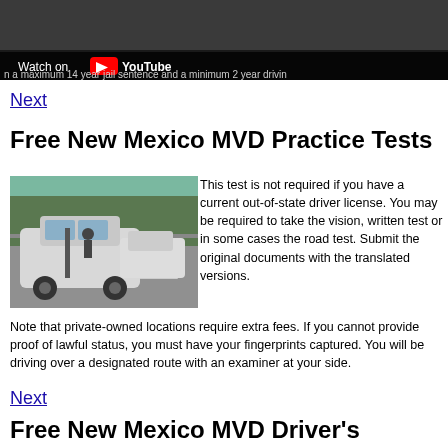[Figure (screenshot): YouTube video thumbnail showing 'Watch on YouTube' overlay with text about maximum 14 year jail sentence and minimum 2 year driving ban]
Next
Free New Mexico MVD Practice Tests
[Figure (photo): Photo of a car accident scene showing damaged white vehicle on a road with trees and fence in background]
This test is not required if you have a current out-of-state driver license. You may be required to take the vision, written test or in some cases the road test. Submit the original documents with the translated versions. Note that private-owned locations require extra fees. If you cannot provide proof of lawful status, you must have your fingerprints captured. You will be driving over a designated route with an examiner at your side.
Next
Free New Mexico MVD Driver's License